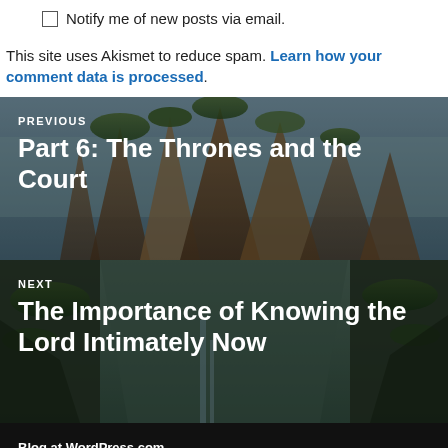Notify me of new posts via email.
This site uses Akismet to reduce spam. Learn how your comment data is processed.
[Figure (photo): Rocky mountain landscape with lush green vegetation, used as background for Previous post navigation link: Part 6: The Thrones and the Court]
[Figure (photo): Rocky mountain gorge landscape with green moss and waterfall, used as background for Next post navigation link: The Importance of Knowing the Lord Intimately Now]
Blog at WordPress.com.